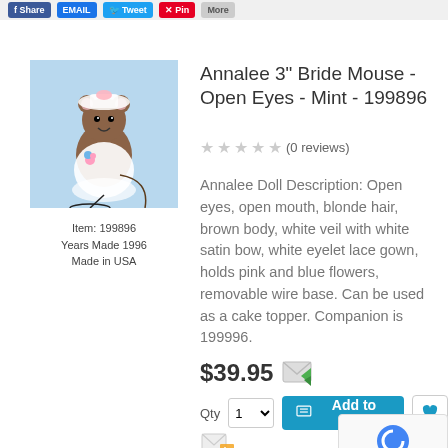[Figure (photo): Annalee 3 inch Bride Mouse doll wearing white eyelet lace gown and veil, holding flowers, on a wire base, on light blue background]
Item: 199896
Years Made 1996
Made in USA
Annalee 3" Bride Mouse - Open Eyes - Mint - 199896
(0 reviews)
Annalee Doll Description: Open eyes, open mouth, blonde hair, brown body, white veil with white satin bow, white eyelet lace gown, holds pink and blue flowers, removable wire base. Can be used as a cake topper. Companion is 199996.
$39.95